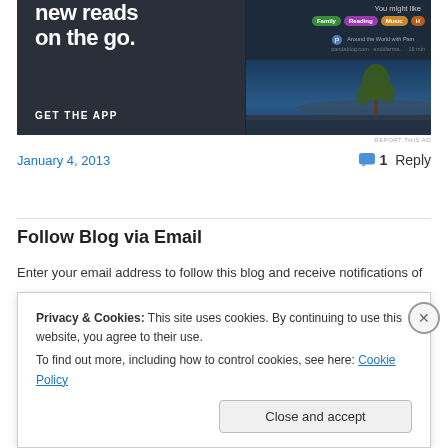[Figure (screenshot): App advertisement banner showing 'new reads on the go. GET THE APP' with app interface screenshot showing 'You might like' categories and 'Around the World with Pam' article]
REPORT THIS AD
January 4, 2013
1 Reply
Follow Blog via Email
Enter your email address to follow this blog and receive notifications of
Privacy & Cookies: This site uses cookies. By continuing to use this website, you agree to their use.
To find out more, including how to control cookies, see here: Cookie Policy
Close and accept